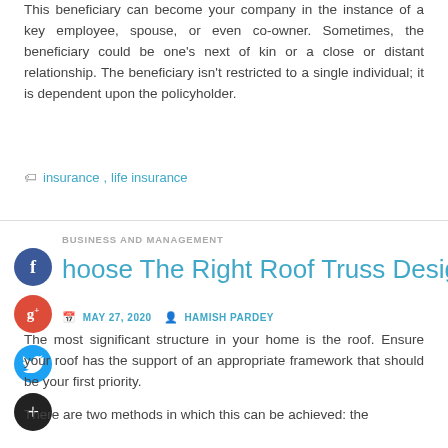This beneficiary can become your company in the instance of a key employee, spouse, or even co-owner. Sometimes, the beneficiary could be one's next of kin or a close or distant relationship. The beneficiary isn't restricted to a single individual; it is dependent upon the policyholder.
insurance, life insurance
BUSINESS AND MANAGEMENT
Choose The Right Roof Truss Design
MAY 27, 2020   HAMISH PARDEY
The most significant structure in your home is the roof. Ensure your roof has the support of an appropriate framework that should be your first priority.
There are two methods in which this can be achieved: the